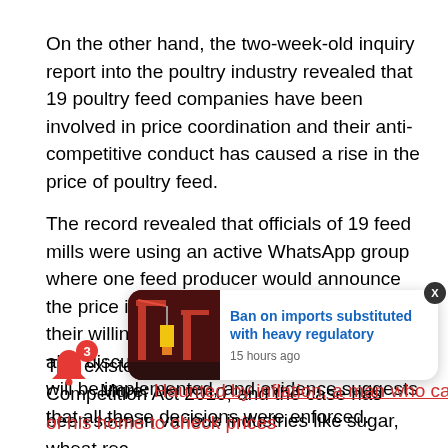On the other hand, the two-week-old inquiry report into the poultry industry revealed that 19 poultry feed companies have been involved in price coordination and their anti-competitive conduct has caused a rise in the price of poultry feed.
The record revealed that officials of 19 feed mills were using an active WhatsApp group where one feed producer would announce the price increase and the rest expressing their willingness to follow suit. They would also discuss new prices and the date they will be implemented, and evidence suggests that all these decisions were enforced.
The existence of cartels is the failure of the Competition Act 2010, and the case has been seen in various industries like sugar, wheat rec
[Figure (screenshot): Notification popup card with an image of red industrial cranes/port equipment on the left, and text 'Ban on imports substituted with heavy regulatory' in blue with '15 hours ago' timestamp on the right. A close button (X) is shown at top right of the card.]
More: Haunted by inflation, a man who came series of his home to check prices